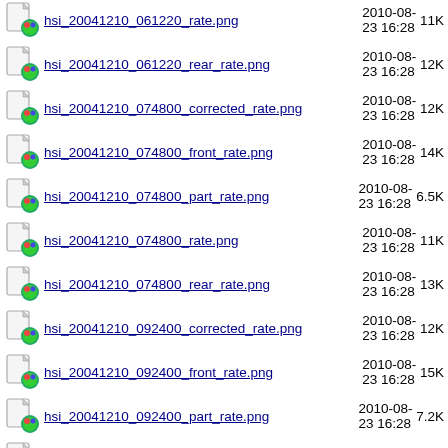hsi_20041210_061220_rate.png  2010-08-23 16:28  11K
hsi_20041210_061220_rear_rate.png  2010-08-23 16:28  12K
hsi_20041210_074800_corrected_rate.png  2010-08-23 16:28  12K
hsi_20041210_074800_front_rate.png  2010-08-23 16:28  14K
hsi_20041210_074800_part_rate.png  2010-08-23 16:28  6.5K
hsi_20041210_074800_rate.png  2010-08-23 16:28  11K
hsi_20041210_074800_rear_rate.png  2010-08-23 16:28  13K
hsi_20041210_092400_corrected_rate.png  2010-08-23 16:28  12K
hsi_20041210_092400_front_rate.png  2010-08-23 16:28  15K
hsi_20041210_092400_part_rate.png  2010-08-23 16:28  7.2K
hsi_20041210_092400_rate.png  2010-08-23 16:28  12K